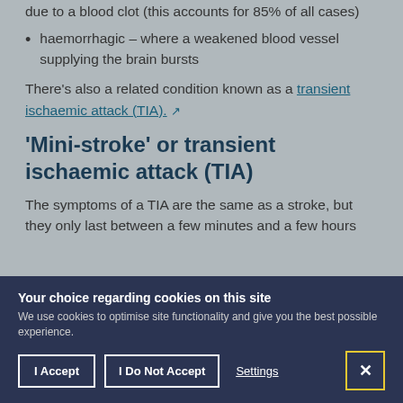due to a blood clot (this accounts for 85% of all cases)
haemorrhagic – where a weakened blood vessel supplying the brain bursts
There's also a related condition known as a transient ischaemic attack (TIA).
'Mini-stroke' or transient ischaemic attack (TIA)
The symptoms of a TIA are the same as a stroke, but they only last between a few minutes and a few hours before they...
Your choice regarding cookies on this site
We use cookies to optimise site functionality and give you the best possible experience.
I Accept | I Do Not Accept | Settings | X